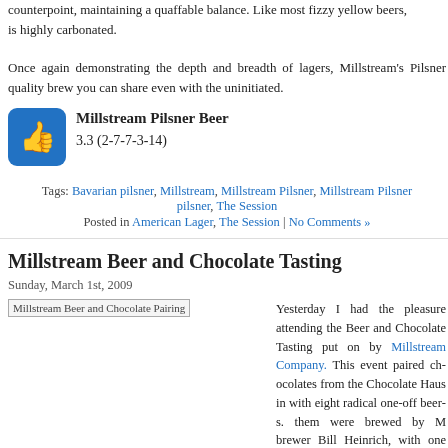counterpoint, maintaining a quaffable balance. Like most fizzy yellow beers, is highly carbonated.
Once again demonstrating the depth and breadth of lagers, Millstream's Pilsner quality brew you can share even with the uninitiated.
[Figure (illustration): Blue rounded square icon with white thumbs-up symbol]
Millstream Pilsner Beer
3.3 (2-7-7-3-14)
Tags: Bavarian pilsner, Millstream, Millstream Pilsner, Millstream Pilsner pilsner, The Session
Posted in American Lager, The Session | No Comments »
Millstream Beer and Chocolate Tasting
Sunday, March 1st, 2009
[Figure (photo): Millstream Beer and Chocolate Pairing image placeholder]
Yesterday I had the pleasure attending the Beer and Chocolate Tasting put on by Millstream Company. This event paired chocolates from the Chocolate Haus in with eight radical one-off beers. them were brewed by M brewer Bill Heinrich, with one from Millstream's sales g Carpenter as well as a coffee